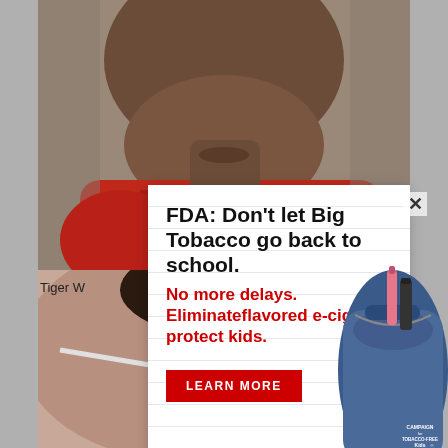[Figure (photo): Close-up photo of a person in a red jacket, cropped at chin/neck level, blurred background]
[Figure (photo): Close-up photo of a young woman with a nasal oxygen tube]
Tiger W
[Figure (infographic): Popup ad overlay on lined paper background with torn bottom edge. Contains Campaign for Tobacco-Free Kids badge and image of blue backpack with e-cigarettes. Close X button in top right. Text: FDA: Don't let Big Tobacco go back to school. No more delays. Eliminate flavored e-cigs to protect kids. LEARN MORE button.]
FDA: Don't let Big Tobacco go back to school.
No more delays. Eliminateflavored e-cigs to protect kids.
LEARN MORE